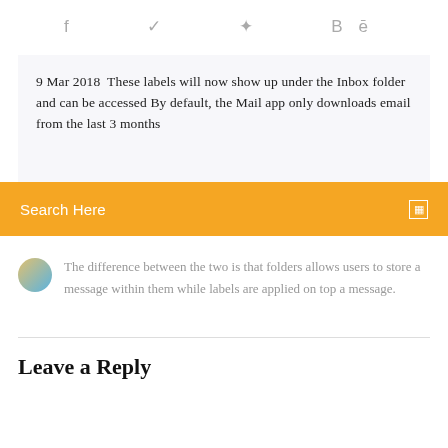f  ✦  ❋  Bē
9 Mar 2018  These labels will now show up under the Inbox folder and can be accessed By default, the Mail app only downloads email from the last 3 months
Search Here
The difference between the two is that folders allows users to store a message within them while labels are applied on top a message.
Leave a Reply